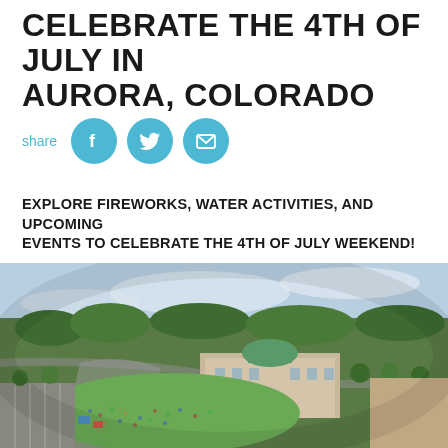CELEBRATE THE 4TH OF JULY IN AURORA, COLORADO
[Figure (infographic): Social share row with 'share' label and three circular blue icons: Facebook (f), Twitter (bird), Email (envelope)]
EXPLORE FIREWORKS, WATER ACTIVITIES, AND UPCOMING EVENTS TO CELEBRATE THE 4TH OF JULY WEEKEND!
Celebrating the 4th in Colorado? Well, you're in luck! Discover all the things happening around the city during the Fourth of July and the weekend after.
[Figure (photo): Aerial fisheye-lens photograph of Aurora, Colorado showing a large outdoor gathering/festival on green lawns near a civic building with a green dome, surrounded by trees, parking lots, and urban landscape under a partly cloudy sky.]